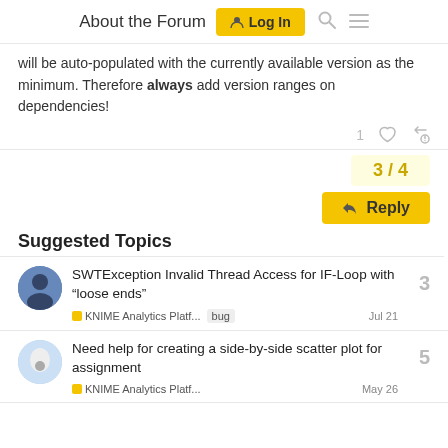About the Forum | Log In
will be auto-populated with the currently available version as the minimum. Therefore always add version ranges on dependencies!
3 / 4
Reply
Suggested Topics
SWTException Invalid Thread Access for IF-Loop with “loose ends” — KNIME Analytics Platf... bug — Jul 21 — 3
Need help for creating a side-by-side scatter plot for assignment — KNIME Analytics Platf... — May 26 — 5